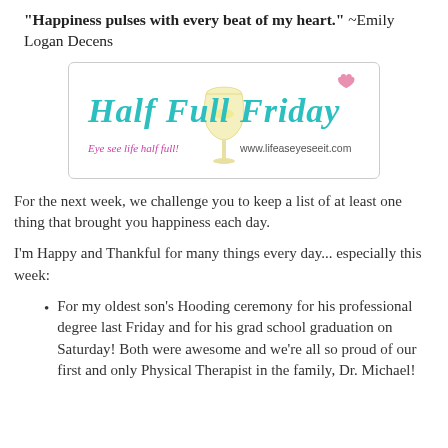"Happiness pulses with every beat of my heart." ~Emily Logan Decens
[Figure (logo): Half Full Friday logo with wine glass image, teal/turquoise handwritten text 'Half Full Friday', pink script 'Eye see life half full!' and URL 'www.lifeaseyeseeit.com']
For the next week, we challenge you to keep a list of at least one thing that brought you happiness each day.
I'm Happy and Thankful for many things every day... especially this week:
For my oldest son's Hooding ceremony for his professional degree last Friday and for his grad school graduation on Saturday!  Both were awesome and we're all so proud of our first and only Physical Therapist in the family, Dr. Michael!